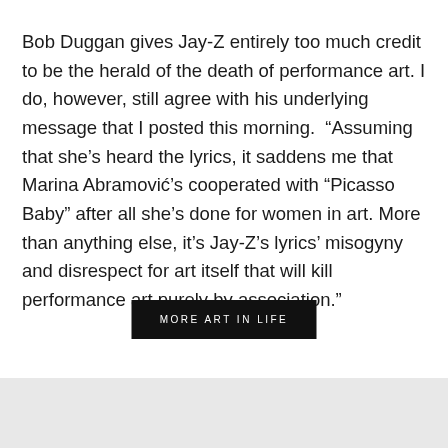Bob Duggan gives Jay-Z entirely too much credit to be the herald of the death of performance art. I do, however, still agree with his underlying message that I posted this morning.  “Assuming that she’s heard the lyrics, it saddens me that Marina Abramović’s cooperated with “Picasso Baby” after all she’s done for women in art. More than anything else, it’s Jay-Z’s lyrics’ misogyny and disrespect for art itself that will kill performance art purely by association.”
MORE ART IN LIFE